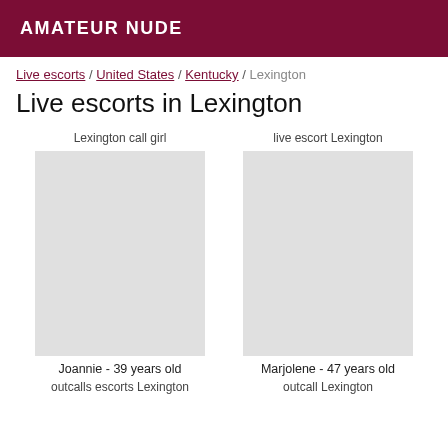AMATEUR NUDE
Live escorts / United States / Kentucky / Lexington
Live escorts in Lexington
Lexington call girl
[Figure (photo): Photo placeholder for Joannie]
Joannie - 39 years old
outcalls escorts Lexington
live escort Lexington
[Figure (photo): Photo placeholder for Marjolene]
Marjolene - 47 years old
outcall Lexington